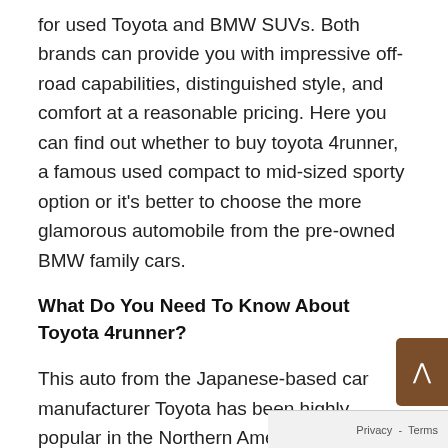for used Toyota and BMW SUVs. Both brands can provide you with impressive off-road capabilities, distinguished style, and comfort at a reasonable pricing. Here you can find out whether to buy toyota 4runner, a famous used compact to mid-sized sporty option or it's better to choose the more glamorous automobile from the pre-owned BMW family cars.
What Do You Need To Know About Toyota 4runner?
This auto from the Japanese-based car manufacturer Toyota has been highly popular in the Northern American market for the last 35 years. The car line has survived five generations of issuing and modifications. Customers buy Toyota 4runner SUV, first of all, for its long-lasting performance. The iSeeCars.com rank of 2016 featured this Toyota mid-size SUV numbe three from the top 10 vehicles in the US which